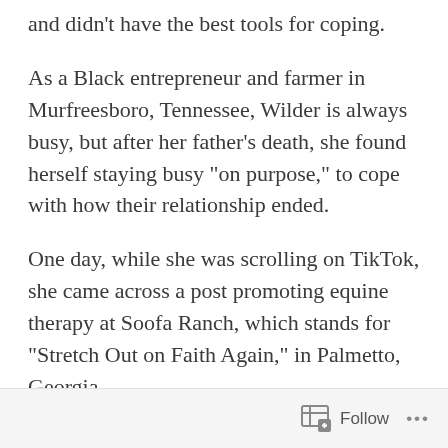and didn't have the best tools for coping.
As a Black entrepreneur and farmer in Murfreesboro, Tennessee, Wilder is always busy, but after her father's death, she found herself staying busy “on purpose,” to cope with how their relationship ended.
One day, while she was scrolling on TikTok, she came across a post promoting equine therapy at Soofa Ranch, which stands for “Stretch Out on Faith Again,” in Palmetto, Georgia.
Follow ...